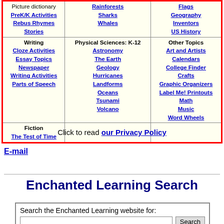| Language Arts | Life Sciences / Physical Sciences | Social Studies / Other Topics |
| --- | --- | --- |
| Picture dictionary
PreK/K Activities
Rebus Rhymes
Stories | Rainforests
Sharks
Whales | Flags
Geography
Inventors
US History |
| Writing
Cloze Activities
Essay Topics
Newspaper
Writing Activities
Parts of Speech | Physical Sciences: K-12
Astronomy
The Earth
Geology
Hurricanes
Landforms
Oceans
Tsunami
Volcano | Other Topics
Art and Artists
Calendars
College Finder
Crafts
Graphic Organizers
Label Me! Printouts
Math
Music
Word Wheels |
| Fiction
The Test of Time |  |  |
Click to read our Privacy Policy
E-mail
Enchanted Learning Search
Search the Enchanted Learning website for: